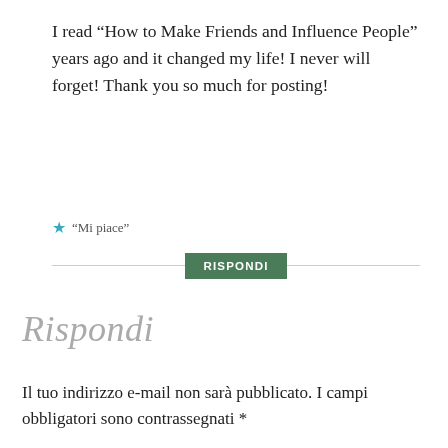I read “How to Make Friends and Influence People” years ago and it changed my life! I never will forget! Thank you so much for posting!
★ “Mi piace”
RISPONDI
Rispondi
Il tuo indirizzo e-mail non sarà pubblicato. I campi obbligatori sono contrassegnati *